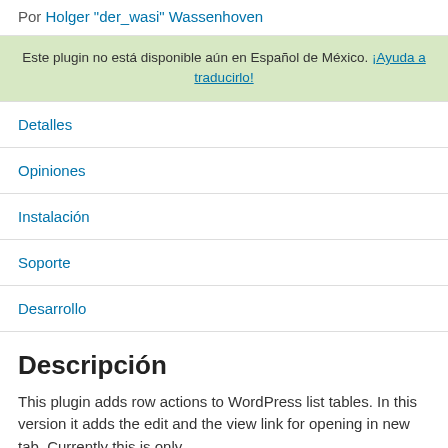Por Holger "der_wasi" Wassenhoven
Este plugin no está disponible aún en Español de México. ¡Ayuda a traducirlo!
Detalles
Opiniones
Instalación
Soporte
Desarrollo
Descripción
This plugin adds row actions to WordPress list tables. In this version it adds the edit and the view link for opening in new tab. Currently this is only